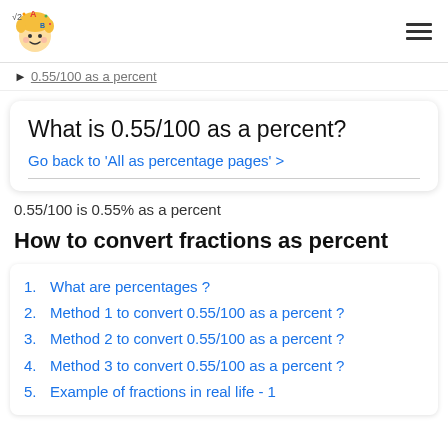[Logo] | hamburger menu
▶ 0.55/100 as a percent
What is 0.55/100 as a percent?
Go back to 'All as percentage pages' >
0.55/100 is 0.55% as a percent
How to convert fractions as percent
1. What are percentages ?
2. Method 1 to convert 0.55/100 as a percent ?
3. Method 2 to convert 0.55/100 as a percent ?
4. Method 3 to convert 0.55/100 as a percent ?
5. Example of fractions in real life - 1